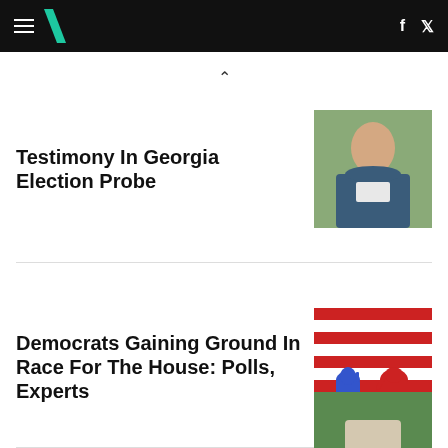HuffPost navigation bar
Testimony In Georgia Election Probe
[Figure (photo): Close-up of a man in a suit speaking outdoors]
Democrats Gaining Ground In Race For The House: Polls, Experts
[Figure (photo): Blue donkey and red elephant figurines on American flag background on a plate]
[Figure (photo): Partial view of a woman with gray hair outdoors]